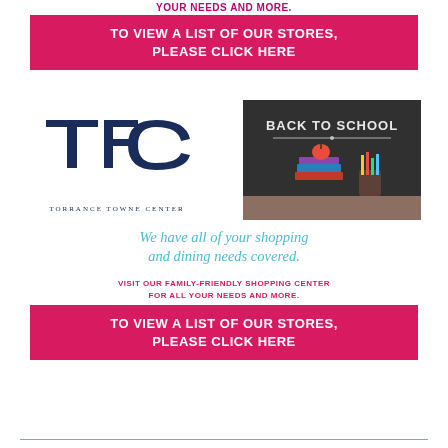YOUR NEEDS AND MORE.
TO VIEW A LIST OF OUR STORES, PLEASE CLICK HERE
[Figure (logo): TFC Torrance Towne Center logo with stylized TFC letters in navy blue]
[Figure (photo): Back to School chalkboard sign with school supplies, books, and pencils on a wooden desk]
We have all of your shopping and dining needs covered.
VISIT OUR FAMILY-FRIENDLY SHOPPING CENTER FOR ALL YOUR NEEDS AND MORE.
TO VIEW A LIST OF OUR STORES, PLEASE CLICK HERE